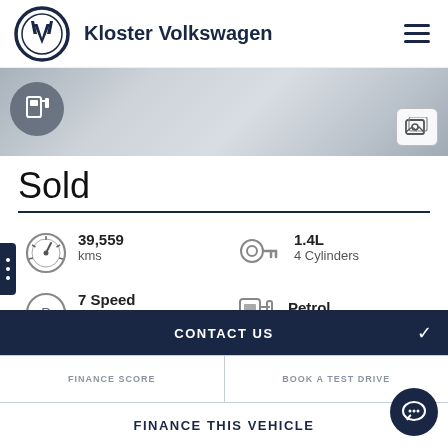[Figure (logo): Volkswagen VW circular logo in navy blue and white]
Kloster Volkswagen
[Figure (photo): Hero banner strip showing vehicle detail with fuel pump icon on the left and gallery icon on the right]
Sold
39,559 kms
1.4L 4 Cylinders
7 Speed Sports Automatic Dual Clutch
Petrol
CONTACT US
FINANCE SCORE
BOOK A TEST DRIVE
FINANCE THIS VEHICLE